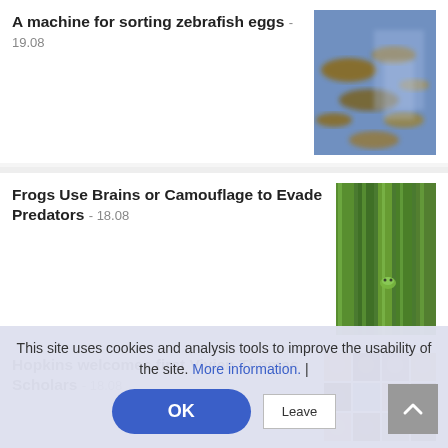A machine for sorting zebrafish eggs - 19.08
[Figure (photo): Close-up blurry photo of zebrafish eggs on blue background]
Frogs Use Brains or Camouflage to Evade Predators - 18.08
[Figure (photo): Green leaves/plant with small frog, camouflage photo]
Hopkins welcomes first Vivien Thomas Scholars - 18.08
[Figure (photo): Grid of portrait photos of scholars]
This site uses cookies and analysis tools to improve the usability of the site. More information. |
OK
Leave